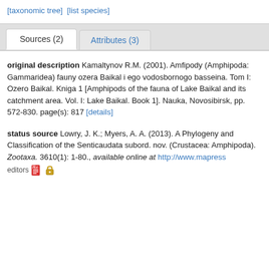[taxonomic tree]  [list species]
Sources (2)    Attributes (3)
original description Kamaltynov R.M. (2001). Amfipody (Amphipoda: Gammaridea) fauny ozera Baikal i ego vodosbornogo basseina. Tom I: Ozero Baikal. Kniga 1 [Amphipods of the fauna of Lake Baikal and its catchment area. Vol. I: Lake Baikal. Book 1]. Nauka, Novosibirsk, pp. 572-830. page(s): 817 [details]
status source Lowry, J. K.; Myers, A. A. (2013). A Phylogeny and Classification of the Senticaudata subord. nov. (Crustacea: Amphipoda). Zootaxa. 3610(1): 1-80., available online at http://www.mapres... editors